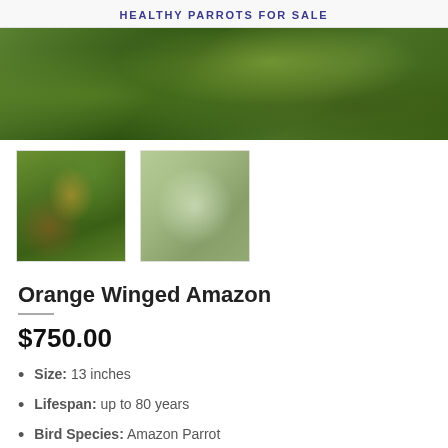HEALTHY PARROTS FOR SALE
[Figure (photo): Main banner photo of green Amazon parrots in foliage]
[Figure (photo): Thumbnail photo of Orange Winged Amazon parrot perched on a branch]
[Figure (photo): Thumbnail photo of a green parrot in a tree, faded/light]
Orange Winged Amazon
$750.00
Size: 13 inches
Lifespan: up to 80 years
Bird Species: Amazon Parrot